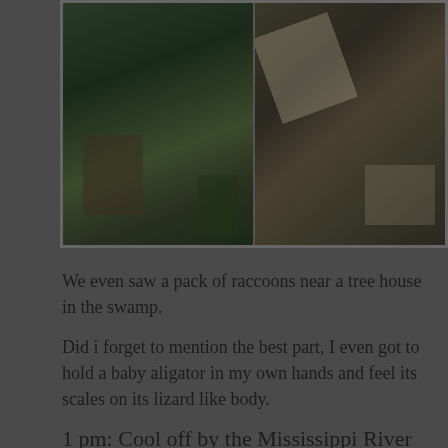[Figure (photo): Two dark nature/swamp photos side by side showing vegetation, water, and natural swamp scenery]
We even saw a pack of raccoons near a tree house in the swamp.
Did i forget to mention the best part, I even got to hold a baby aligator in my own hands and feel its scales on its lizard like body.
1 pm: Cool off by the Mississippi River
After the swamp tour, we were dropped back in the downtown area. We decided to cool off the last afternoon by the Mississippi river as we sipped on our cocktail with some jazz music lingering in the